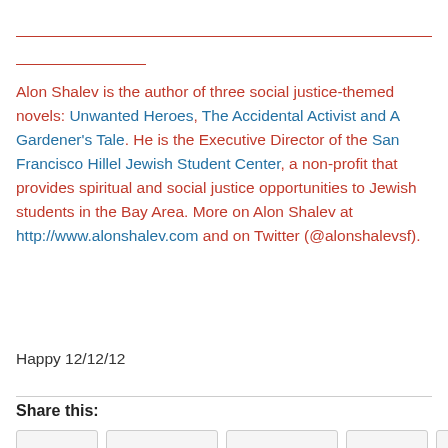Alon Shalev is the author of three social justice-themed novels: Unwanted Heroes, The Accidental Activist and A Gardener's Tale. He is the Executive Director of the San Francisco Hillel Jewish Student Center, a non-profit that provides spiritual and social justice opportunities to Jewish students in the Bay Area. More on Alon Shalev at http://www.alonshalev.com and on Twitter (@alonshalevsf).
Happy 12/12/12
Share this: